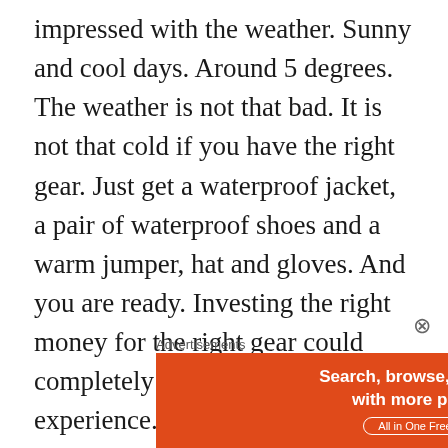impressed with the weather. Sunny and cool days. Around 5 degrees. The weather is not that bad. It is not that cold if you have the right gear. Just get a waterproof jacket, a pair of waterproof shoes and a warm jumper, hat and gloves. And you are ready. Investing the right money for the right gear could completely change your travel experience.
It is always a good time to visit Iceland. In fact, from October to March/April you can enjoy the
[Figure (other): DuckDuckGo advertisement banner: orange left panel with text 'Search, browse, and email with more privacy. All in One Free App' and dark right panel with DuckDuckGo logo and name.]